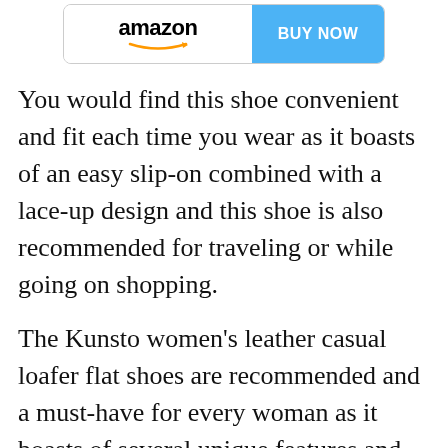[Figure (other): Amazon buy button with Amazon logo on left and blue BUY NOW button on right]
You would find this shoe convenient and fit each time you wear as it boasts of an easy slip-on combined with a lace-up design and this shoe is also recommended for traveling or while going on shopping.
The Kunsto women’s leather casual loafer flat shoes are recommended and a must-have for every woman as it boasts of several unique features and advantages and one of its benefits is it helps to eliminate fatigue and stress so you can walk both outdoors and indoors for a very long time thanks to its lightly padded insole and footbed.